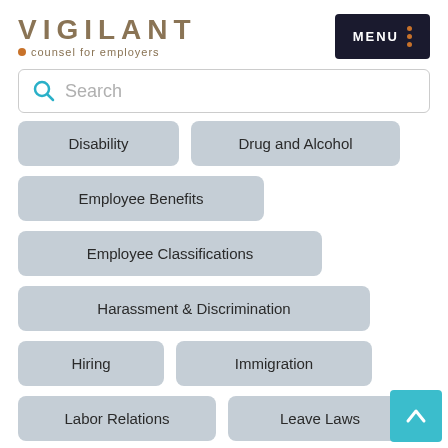[Figure (logo): Vigilant logo with text 'VIGILANT' and tagline 'counsel for employers']
[Figure (screenshot): MENU button with dark background and orange dots]
Search
Disability
Drug and Alcohol
Employee Benefits
Employee Classifications
Harassment & Discrimination
Hiring
Immigration
Labor Relations
Leave Laws